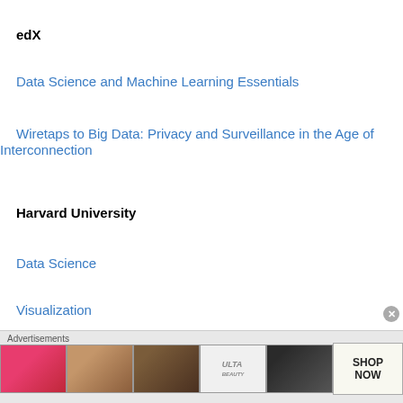edX
Data Science and Machine Learning Essentials
Wiretaps to Big Data: Privacy and Surveillance in the Age of Interconnection
Harvard University
Data Science
Visualization
Udacity